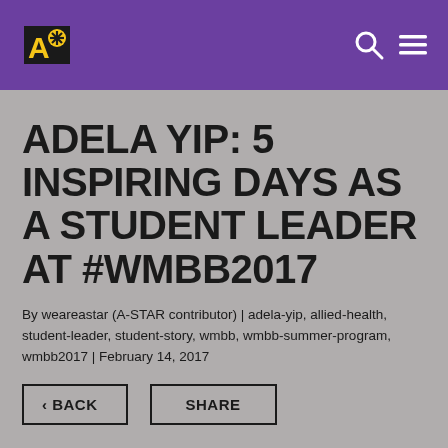A* (A-STAR) logo, search and menu icons
ADELA YIP: 5 INSPIRING DAYS AS A STUDENT LEADER AT #WMBB2017
By weareastar (A-STAR contributor) | adela-yip, allied-health, student-leader, student-story, wmbb, wmbb-summer-program, wmbb2017 | February 14, 2017
< BACK   SHARE